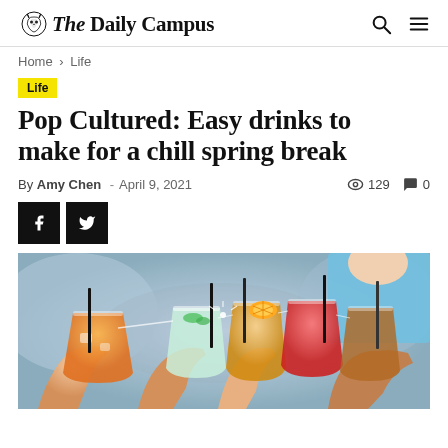The Daily Campus
Home › Life
Life
Pop Cultured: Easy drinks to make for a chill spring break
By Amy Chen - April 9, 2021 · 129 views · 0 comments
[Figure (photo): Hands clinking together colorful cocktail glasses with straws and garnishes at a social gathering]